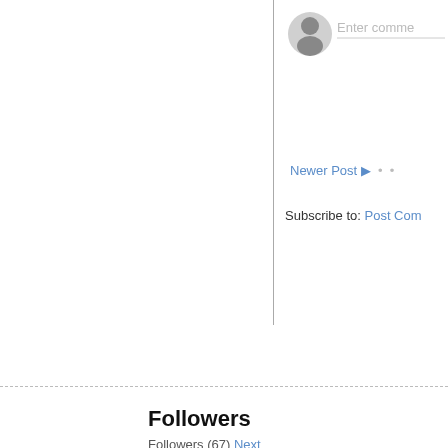[Figure (screenshot): User avatar icon (grey silhouette circle) and 'Enter comme...' comment input area in the top-right panel]
Newer Post ▶  •  •
Subscribe to: Post Co...
Followers
Followers (67)  Next
[Figure (photo): Row of 10 follower profile thumbnail photos]
LinkWithin
Follow my blog with Bloglovin
Subscribe To